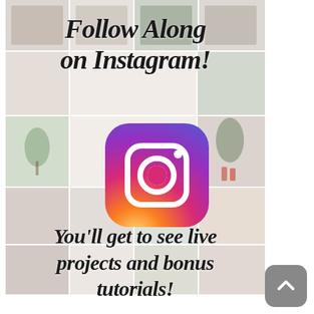[Figure (photo): Collage of interior home design photos arranged in a grid, with a semi-transparent white overlay. Shows living rooms, plants, decor items in modern/boho style.]
Follow Along on Instagram!
[Figure (logo): Instagram app icon - gradient square with rounded corners in purple/pink/orange gradient, white camera outline with circle and viewfinder dot]
You'll get to see live projects and bonus tutorials!
[Figure (other): Small grey rounded square button with upward chevron arrow icon in bottom right corner]